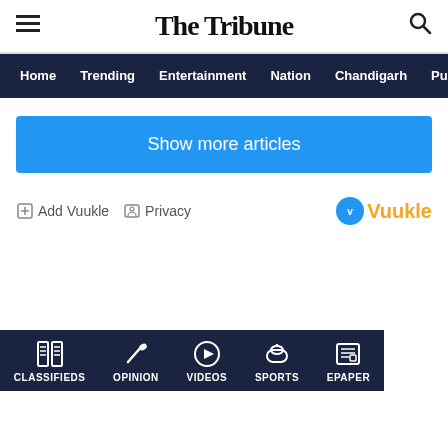The Tribune
Home  Trending  Entertainment  Nation  Chandigarh  Punjab
Show more articles
Add Vuukle  Privacy  Vuukle
CLASSIFIEDS  OPINION  VIDEOS  SPORTS  EPAPER